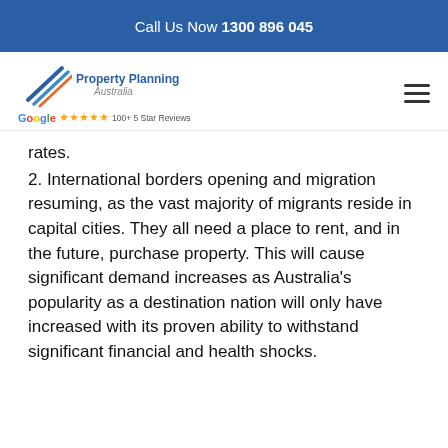Call Us Now 1300 896 045
[Figure (logo): Property Planning Australia logo with Google 5 star reviews badge]
rates.
2. International borders opening and migration resuming, as the vast majority of migrants reside in capital cities. They all need a place to rent, and in the future, purchase property. This will cause significant demand increases as Australia's popularity as a destination nation will only have increased with its proven ability to withstand significant financial and health shocks.